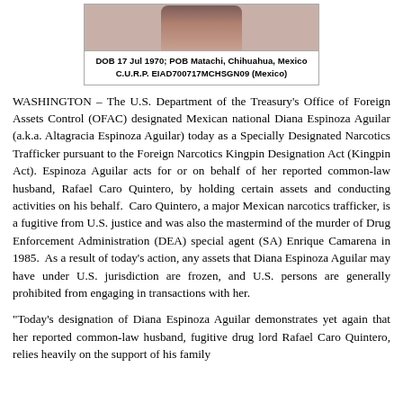[Figure (photo): Headshot photo of Diana Espinoza Aguilar]
DOB 17 Jul 1970; POB Matachi, Chihuahua, Mexico
C.U.R.P. EIAD700717MCHSGN09 (Mexico)
WASHINGTON – The U.S. Department of the Treasury's Office of Foreign Assets Control (OFAC) designated Mexican national Diana Espinoza Aguilar (a.k.a. Altagracia Espinoza Aguilar) today as a Specially Designated Narcotics Trafficker pursuant to the Foreign Narcotics Kingpin Designation Act (Kingpin Act). Espinoza Aguilar acts for or on behalf of her reported common-law husband, Rafael Caro Quintero, by holding certain assets and conducting activities on his behalf. Caro Quintero, a major Mexican narcotics trafficker, is a fugitive from U.S. justice and was also the mastermind of the murder of Drug Enforcement Administration (DEA) special agent (SA) Enrique Camarena in 1985. As a result of today's action, any assets that Diana Espinoza Aguilar may have under U.S. jurisdiction are frozen, and U.S. persons are generally prohibited from engaging in transactions with her.
“Today’s designation of Diana Espinoza Aguilar demonstrates yet again that her reported common-law husband, fugitive drug lord Rafael Caro Quintero, relies heavily on the support of his family